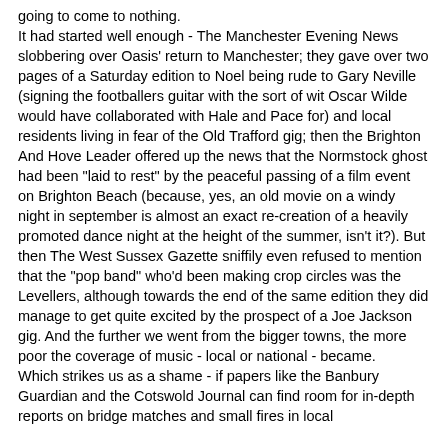going to come to nothing. It had started well enough - The Manchester Evening News slobbering over Oasis' return to Manchester; they gave over two pages of a Saturday edition to Noel being rude to Gary Neville (signing the footballers guitar with the sort of wit Oscar Wilde would have collaborated with Hale and Pace for) and local residents living in fear of the Old Trafford gig; then the Brighton And Hove Leader offered up the news that the Normstock ghost had been "laid to rest" by the peaceful passing of a film event on Brighton Beach (because, yes, an old movie on a windy night in september is almost an exact re-creation of a heavily promoted dance night at the height of the summer, isn't it?). But then The West Sussex Gazette sniffily even refused to mention that the "pop band" who'd been making crop circles was the Levellers, although towards the end of the same edition they did manage to get quite excited by the prospect of a Joe Jackson gig. And the further we went from the bigger towns, the more poor the coverage of music - local or national - became. Which strikes us as a shame - if papers like the Banbury Guardian and the Cotswold Journal can find room for in-depth reports on bridge matches and small fires in local